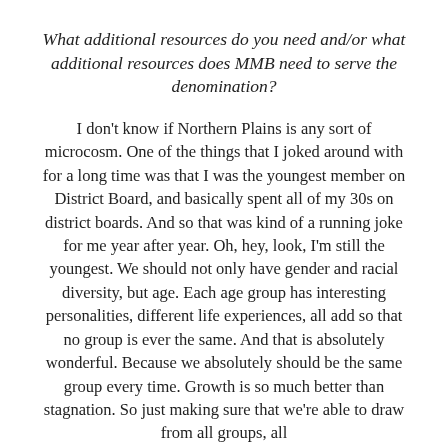What additional resources do you need and/or what additional resources does MMB need to serve the denomination?
I don't know if Northern Plains is any sort of microcosm. One of the things that I joked around with for a long time was that I was the youngest member on District Board, and basically spent all of my 30s on district boards. And so that was kind of a running joke for me year after year. Oh, hey, look, I'm still the youngest. We should not only have gender and racial diversity, but age. Each age group has interesting personalities, different life experiences, all add so that no group is ever the same. And that is absolutely wonderful. Because we absolutely should be the same group every time. Growth is so much better than stagnation. So just making sure that we're able to draw from all groups, all